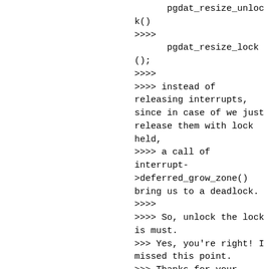pgdat_resize_unlock()
>>>>
      pgdat_resize_lock();
>>>>
>>>> instead of releasing interrupts, since in case of we just release them with lock held,
>>>> a call of interrupt->deferred_grow_zone() bring us to a deadlock.
>>>>
>>>> So, unlock the lock is must.
>>> Yes, you're right! I missed this point.
>>> Thanks for your comment!
>>>
>>>>> Signed-off-by: Shile Zhang<shile.zhang@linux.al
>>>>> ---
>>>>>    mm/page_alloc.c | 6 +++++-
>>>>>    1 file changed, 5 insertions(+), 1 deletion(-)